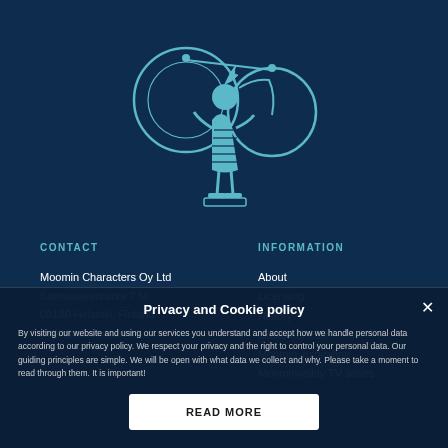[Figure (illustration): Moomin character illustration in light blue/teal outline on dark navy background — a girl-like figure with a drum or circular instrument, wearing a dress with striped skirt]
CONTACT
Moomin Characters Oy Ltd
Salmisaarenranta 7 M
00180 Helsinki, Finland
hello@moomin.com
INFORMATION
About
Licensing
History
Customer care
Moomin inspiration
Moominvalley TV series
Privacy and Cookie policy
By visiting our website and using our services you understand and accept how we handle personal data according to our privacy policy. We respect your privacy and the right to control your personal data. Our guiding principles are simple. We will be open with what data we collect and why. Please take a moment to read through them. It is important!
READ MORE